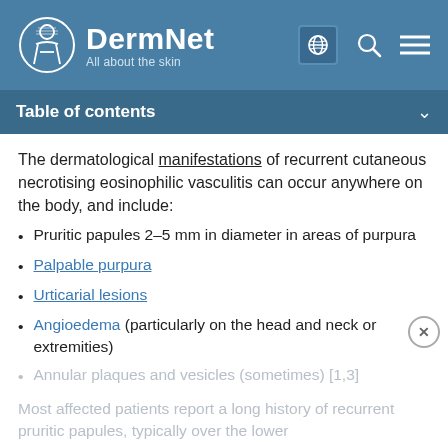DermNet — All about the skin
Table of contents
The dermatological manifestations of recurrent cutaneous necrotising eosinophilic vasculitis can occur anywhere on the body, and include:
Pruritic papules 2–5 mm in diameter in areas of purpura
Palpable purpura
Urticarial lesions
Angioedema (particularly on the head and neck or extremities)
Annular plaques and vesicles (sometimes) [1,3]
Most affected patients report a long history of recurrent pruritic papules, typically over the lower